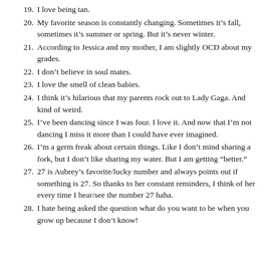19.  I love being tan.
20.  My favorite season is constantly changing. Sometimes it's fall, sometimes it's summer or spring. But it's never winter.
21.  According to Jessica and my mother, I am slightly OCD about my grades.
22.  I don't believe in soul mates.
23.  I love the smell of clean babies.
24.  I think it's hilarious that my parents rock out to Lady Gaga. And kind of weird.
25.  I've been dancing since I was four. I love it. And now that I'm not dancing I miss it more than I could have ever imagined.
26.  I'm a germ freak about certain things. Like I don't mind sharing a fork, but I don't like sharing my water. But I am getting “better.”
27.  27 is Aubrey's favorite/lucky number and always points out if something is 27. So thanks to her constant reminders, I think of her every time I hear/see the number 27 haha.
28.  I hate being asked the question what do you want to be when you grow up because I don't know!